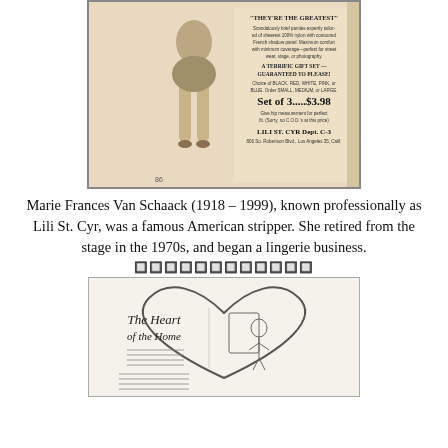[Figure (photo): Vintage advertisement scan for Lili St. Cyr lingerie. Shows a woman modeling briefs with text: 'THEY'RE THE GREATEST' — Scandalously brief panties expertly tailored of sheerest 100% nylon with contoured French shadow panel. Maximum comfort with minimum coverage—perfect for street wear, stage, or photography. A TERRIFIC GIFT SET — GUARANTEED TO PLEASE! Choice of BLACK, RED, WHITE, PINK, or BLUE. Order SMALL, MEDIUM, or LARGE. Set of 3.....$3.98 Give hip measurement for perfect fit. (Sorry, no C.O.D.'s at this price) LILI ST. CYR Dept. C-3, 806 So. Robertson Blvd., Los Angeles 35, Calif.]
Marie Frances Van Schaack (1918 – 1999), known professionally as Lili St. Cyr, was a famous American stripper. She retired from the stage in the 1970s, and began a lingerie business.
🔲🔲🔲🔲🔲🔲🔲🔲🔲🔲🔲🔲
[Figure (illustration): Vintage advertisement illustration: 'The Heart of the Home' — shows a heart-shaped vignette with a domestic kitchen scene including a woman and appliances, with text about Majestic ranges/stoves.]